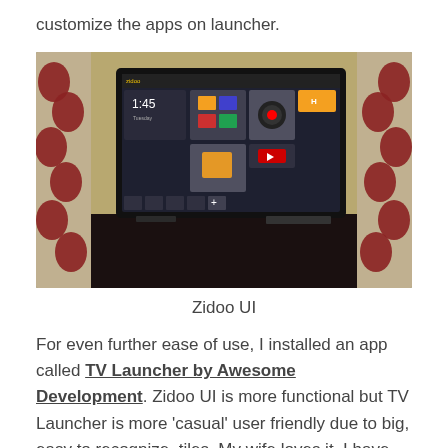customize the apps on launcher.
[Figure (photo): A flat-screen TV mounted on a dark stand displaying the Zidoo UI launcher interface with app tiles and icons, flanked by red-patterned curtains in a room setting.]
Zidoo UI
For even further ease of use, I installed an app called TV Launcher by Awesome Development. Zidoo UI is more functional but TV Launcher is more 'casual' user friendly due to big, easy to recognize, tiles. My wife loves it. I have set it to